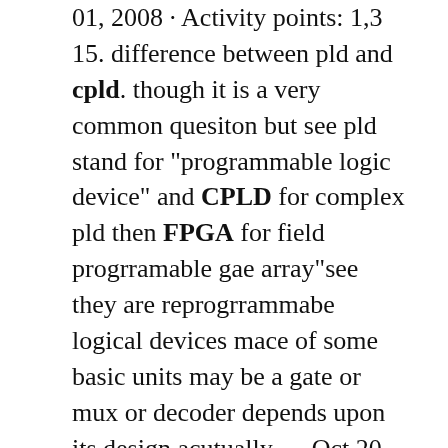01, 2008 · Activity points: 1, 3 15. difference between pld and cpld. though it is a very common quesiton but see pld stand for "programmable logic device" and CPLD for complex pld then FPGA for field progrramable gae array"see they are reprogrrammabe logical devices mace of some basic units may be a gate or mux or decoder depends upon its design.acutually .... Oct 20, 2014 · 25. FPGA AND CPLD 1. FPGA - Field-Programmable Gate Array. 2. CPLD - Complex Programmable Logic Device 3. FPGA and CPLD is an advance PLD. 4. Support thousands of gate where as PLD only support hundreds of gates. CPLD and FPGA Prof. Anish Goel.. 5. CPLD's resources are partitioned into logic blocks, imposing restrictions on how they may be used. FPGAs contain arrays of logic cells and are less partitioned than CPLDs. 6. The number of input-output pins offered by CPLD is significantly